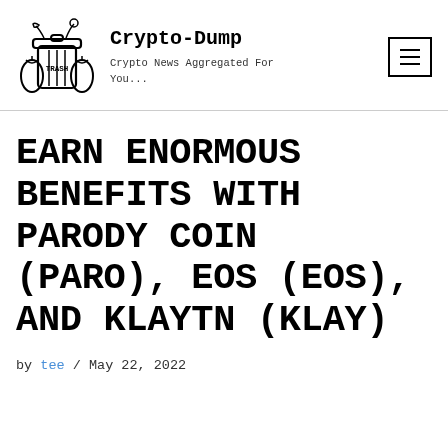[Figure (logo): Hand-drawn illustration of a trash can labeled TRASH with garbage bags beside it, serving as the Crypto-Dump website logo]
Crypto-Dump
Crypto News Aggregated For You...
EARN ENORMOUS BENEFITS WITH PARODY COIN (PARO), EOS (EOS), AND KLAYTN (KLAY)
by tee / May 22, 2022